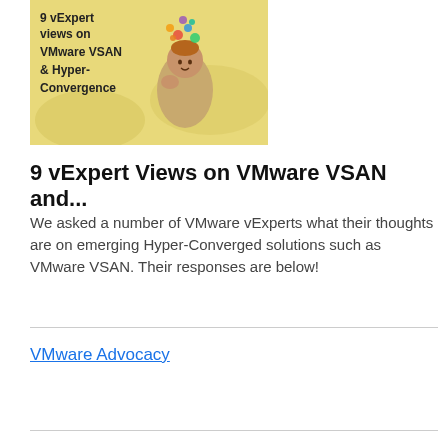[Figure (illustration): Book or article cover image with yellow background showing a illustrated person thinking, with colorful shapes above their head, and text reading '9 vExpert views on VMware VSAN & Hyper-Convergence']
9 vExpert Views on VMware VSAN and...
We asked a number of VMware vExperts what their thoughts are on emerging Hyper-Converged solutions such as VMware VSAN. Their responses are below!
VMware Advocacy